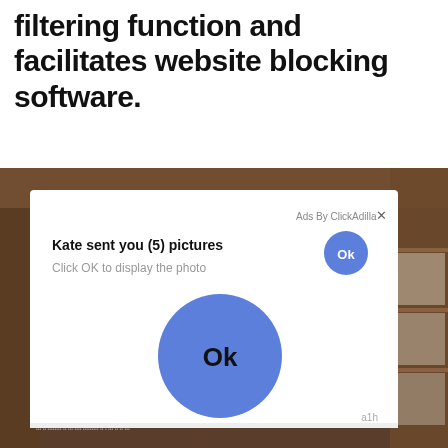filtering function and facilitates website blocking software.
[Figure (screenshot): Screenshot of a deceptive ad/popup dialog showing 'Ads By ClickAdilla' label with an X close button, text 'Kate sent you (5) pictures' in bold, subtitle 'Click OK to display the photo' in gray, a small blue circular Ok button top right, and a large blue circular Ok button in the center of the white dialog box. The dialog is overlaid on a photo of an indoor room with wooden shelves. Bottom right shows text 'a1h'.]